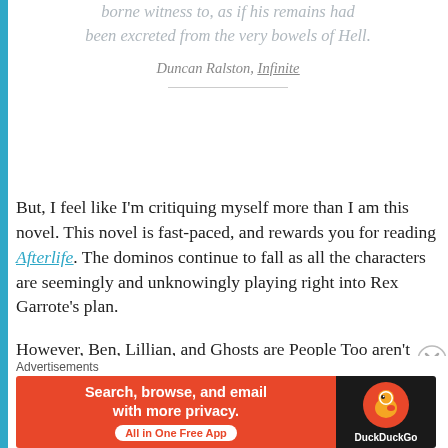borne witness to, as if his remains had been excreted from the very bowels of Hell.
Duncan Ralston, Infinite
But, I feel like I'm critiquing myself more than I am this novel. This novel is fast-paced, and rewards you for reading Afterlife. The dominos continue to fall as all the characters are seemingly and unknowingly playing right into Rex Garrote's plan.
However, Ben, Lillian, and Ghosts are People Too aren't going to take this laying down. Seeing everyone fight for what they perceive as right is moving. Seeing the leader
Advertisements
[Figure (screenshot): DuckDuckGo advertisement banner: Search, browse, and email with more privacy. All in One Free App.]